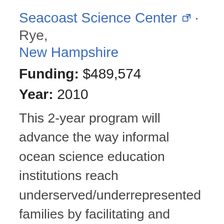Seacoast Science Center · Rye, New Hampshire
Funding: $489,574
Year: 2010
This 2-year program will advance the way informal ocean science education institutions reach underserved/underrepresented families by facilitating and formalizing relationships between informal science education centers and community based organizations. Project teams in five New England communities will collaborate to create a practicable, outdoor ocean-science learning experience specifically designed for